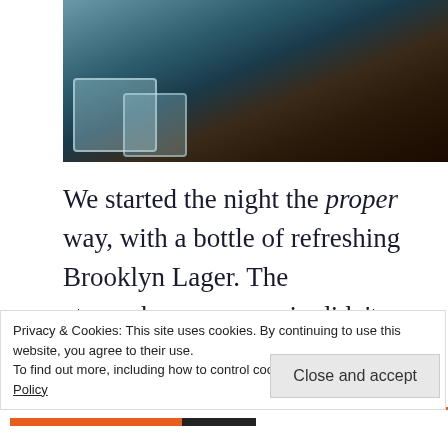[Figure (photo): Photo of glass jars or mugs on a dark surface, partially visible at top of page]
We started the night the proper way, with a bottle of refreshing Brooklyn Lager. The atmosphere once again didn't disappoint; each of the tables was studded with softly glowing candles, a delightful array of art hung up on the restaurant walls, and a soft hubbub and clatter of crockery from the open kitchen. What more could you
Privacy & Cookies: This site uses cookies. By continuing to use this website, you agree to their use.
To find out more, including how to control cookies, see here: Cookie Policy
Close and accept